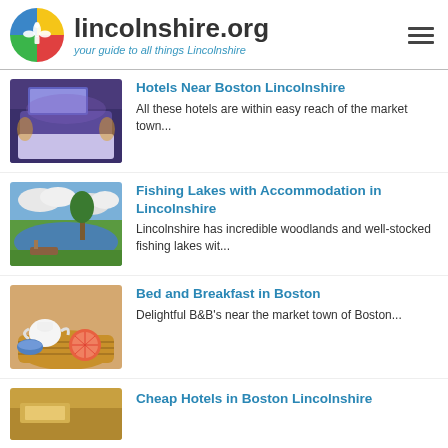lincolnshire.org — your guide to all things Lincolnshire
Hotels Near Boston Lincolnshire
All these hotels are within easy reach of the market town...
[Figure (photo): Hotel bedroom with purple ambient lighting and a decorative headboard]
Fishing Lakes with Accommodation in Lincolnshire
Lincolnshire has incredible woodlands and well-stocked fishing lakes wit...
[Figure (photo): Scenic lake with trees and cloudy sky, with a boat on the shore]
Bed and Breakfast in Boston
Delightful B&B's near the market town of Boston...
[Figure (photo): Basket with breakfast items including grapefruit, teapot, and bowls]
Cheap Hotels in Boston Lincolnshire
[Figure (photo): Partial image of a golden/warm-toned scene (cropped at bottom)]